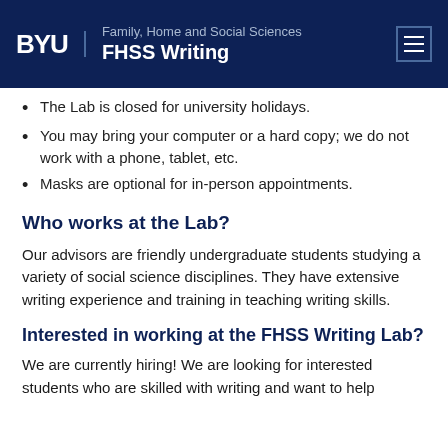BYU | Family, Home and Social Sciences | FHSS Writing
The Lab is closed for university holidays.
You may bring your computer or a hard copy; we do not work with a phone, tablet, etc.
Masks are optional for in-person appointments.
Who works at the Lab?
Our advisors are friendly undergraduate students studying a variety of social science disciplines. They have extensive writing experience and training in teaching writing skills.
Interested in working at the FHSS Writing Lab?
We are currently hiring! We are looking for interested students who are skilled with writing and want to help